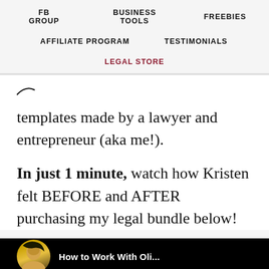FB GROUP   BUSINESS TOOLS   FREEBIES
AFFILIATE PROGRAM   TESTIMONIALS
LEGAL STORE
templates made by a lawyer and entrepreneur (aka me!).
In just 1 minute, watch how Kristen felt BEFORE and AFTER purchasing my legal bundle below!
[Figure (photo): Black background video thumbnail with a person visible and partial text reading 'How to Work With Oli...']